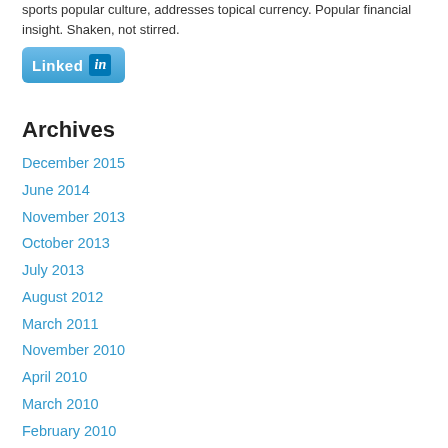…sports popular culture, addresses topical currency. Popular financial insight. Shaken, not stirred.
[Figure (logo): LinkedIn button logo]
Archives
December 2015
June 2014
November 2013
October 2013
July 2013
August 2012
March 2011
November 2010
April 2010
March 2010
February 2010
January 2010
December 2009
November 2009
October 2009